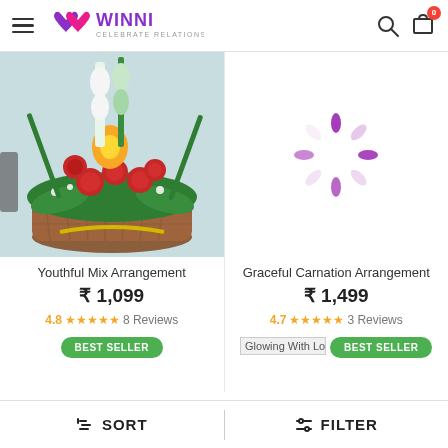WINNI CELEBRATE RELATIONS
[Figure (photo): Flower basket arrangement with red roses, yellow lilies, white gladiolus and baby's breath in a wicker basket]
Youthful Mix Arrangement
₹ 1,099
4.8★★★★★ 8 Reviews
BEST SELLER
[Figure (other): Loading spinner animation in purple/lavender colors]
Graceful Carnation Arrangement
₹ 1,499
4.7★★★★★ 3 Reviews
Glowing With Lov
BEST SELLER
SORT   FILTER